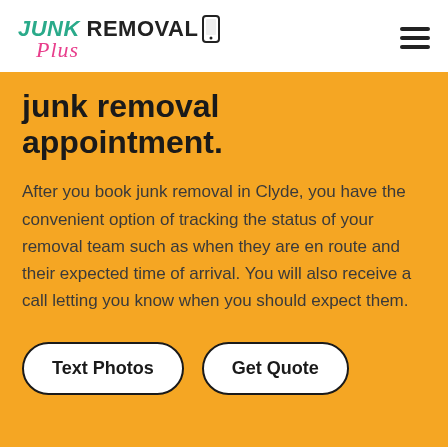JUNK REMOVAL Plus
junk removal appointment.
After you book junk removal in Clyde, you have the convenient option of tracking the status of your removal team such as when they are en route and their expected time of arrival. You will also receive a call letting you know when you should expect them.
Text Photos | Get Quote